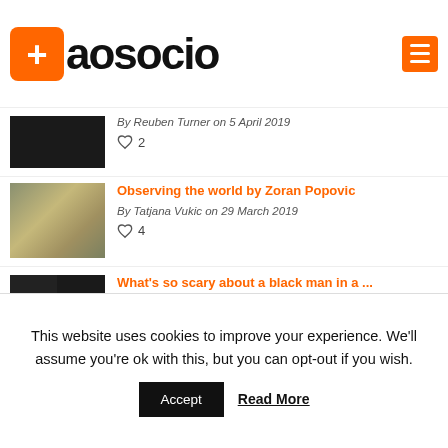aosocio
By Reuben Turner on 5 April 2019
♡ 2
Observing the world by Zoran Popovic
By Tatjana Vukic on 29 March 2019
♡ 4
What's so scary about a black man in a ...
By Reuben Turner on 13 February 2019
♡ 6
This website uses cookies to improve your experience. We'll assume you're ok with this, but you can opt-out if you wish.
Accept   Read More